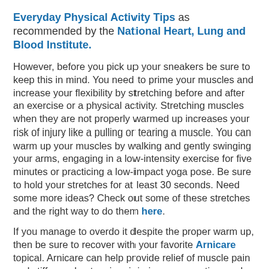Everyday Physical Activity Tips as recommended by the National Heart, Lung and Blood Institute.
However, before you pick up your sneakers be sure to keep this in mind. You need to prime your muscles and increase your flexibility by stretching before and after an exercise or a physical activity. Stretching muscles when they are not properly warmed up increases your risk of injury like a pulling or tearing a muscle. You can warm up your muscles by walking and gently swinging your arms, engaging in a low-intensity exercise for five minutes or practicing a low-impact yoga pose. Be sure to hold your stretches for at least 30 seconds. Need some more ideas? Check out some of these stretches and the right way to do them here.
If you manage to overdo it despite the proper warm up, then be sure to recover with your favorite Arnicare topical. Arnicare can help provide relief of muscle pain and stiffness due to minor injuries, overexertion, and falls. More from Arnicare on how to treat